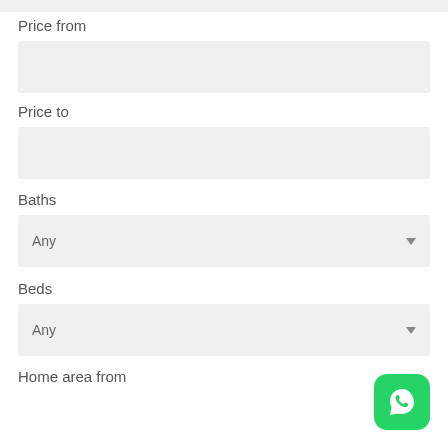Price from
[Figure (other): Empty input field for Price from]
Price to
[Figure (other): Empty input field for Price to]
Baths
[Figure (other): Dropdown selector showing Any for Baths]
Beds
[Figure (other): Dropdown selector showing Any for Beds]
Home area from
[Figure (other): WhatsApp icon button in bottom right corner]